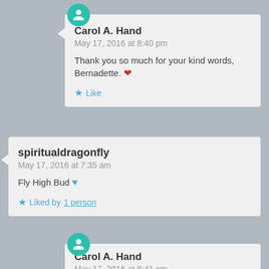Carol A. Hand
May 17, 2016 at 8:40 pm
Thank you so much for your kind words, Bernadette. ❤
★ Like
spiritualdragonfly
May 17, 2016 at 7:35 am
Fly High Bud 💙
★ Liked by 1 person
Carol A. Hand
May 17, 2016 at 8:41 pm